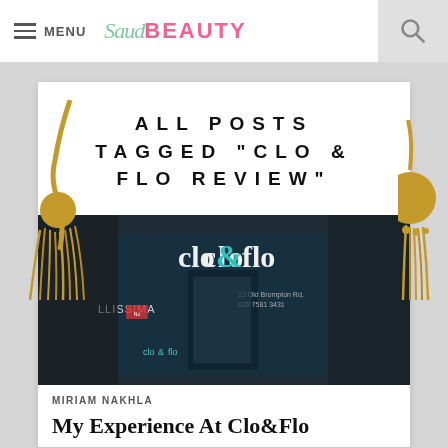≡ MENU  SaudBEAUTY  🔍
ALL POSTS TAGGED "CLO & FLO REVIEW"
[Figure (photo): Exterior storefront photo of Clo & Flo salon at night, showing glass shopfront with teal 'clo&flo' signage, and neighboring 'LLISSIMA' store visible]
MIRIAM NAKHLA
My Experience At Clo&Flo